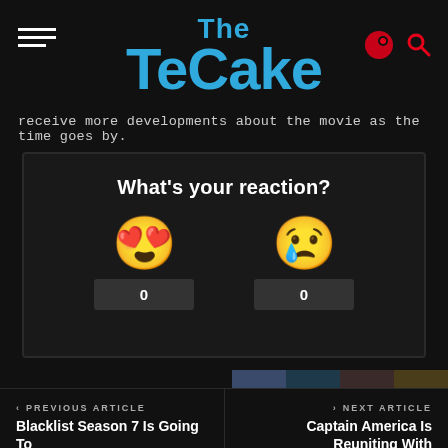[Figure (logo): TheTeCake website logo in blue with hamburger menu on left and icons on right]
receive more developments about the movie as the time goes by.
What's your reaction?
[Figure (infographic): Reaction widget with heart-eyes emoji (count: 0) and crying emoji (count: 0)]
SHARE ON
PREVIOUS ARTICLE
Blacklist Season 7 Is Going To
NEXT ARTICLE
Captain America Is Reuniting With